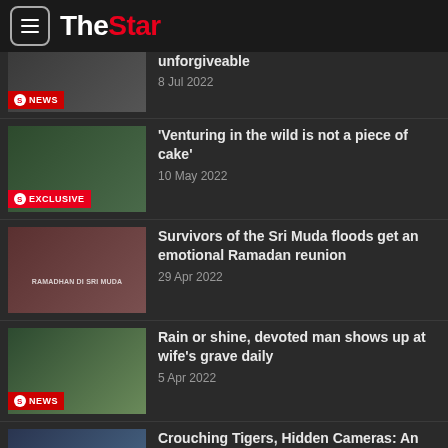The Star
unforgiveable
8 Jul 2022
'Venturing in the wild is not a piece of cake'
10 May 2022
Survivors of the Sri Muda floods get an emotional Ramadan reunion
29 Apr 2022
Rain or shine, devoted man shows up at wife's grave daily
5 Apr 2022
Crouching Tigers, Hidden Cameras: An interview with the filmmakers behind Malaysia's Last Tigers